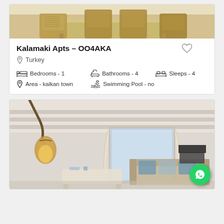[Figure (photo): Top portion of dining room photo showing wicker chairs and a table with light wood tones]
Kalamaki Apts – OO4AKA
Turkey
Bedrooms - 1   Bathrooms - 4   Sleeps - 4   Area - kalkan town   Swimming Pool - no
[Figure (photo): Living room interior with ornate lamp, sofa with cushions, coffee table, and balcony/terrace door with natural light]